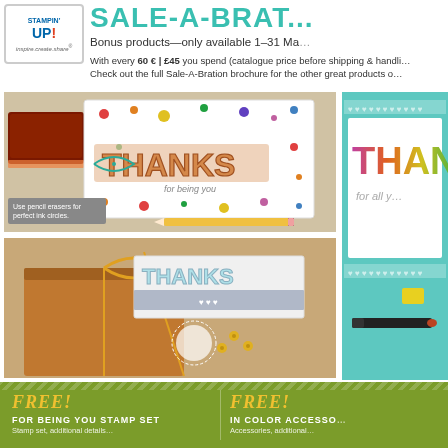[Figure (logo): Stampin' Up! logo with tagline 'inspire.create.share']
SALE-A-BRAT...
Bonus products—only available 1–31 Ma...
With every 60 € | £45 you spend (catalogue price before shipping & handli... Check out the full Sale-A-Bration brochure for the other great products o...
[Figure (photo): Card with colorful polka dots and THANKS stamped in large letters with 'for being you' below. Ink pad and pencil visible.]
Use pencil erasers for perfect ink circles.
[Figure (photo): Brown gift box wrapped with yellow twine and a THANKS card on top with hearts.]
[Figure (photo): Teal card with rainbow THANKS and 'for all y...' text, marker pen visible.]
FREE! FOR BEING YOU STAMP SET
FREE! IN COLOR ACCESSO...